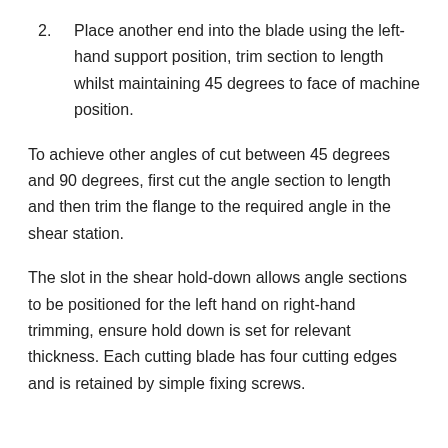2. Place another end into the blade using the left-hand support position, trim section to length whilst maintaining 45 degrees to face of machine position.
To achieve other angles of cut between 45 degrees and 90 degrees, first cut the angle section to length and then trim the flange to the required angle in the shear station.
The slot in the shear hold-down allows angle sections to be positioned for the left hand on right-hand trimming, ensure hold down is set for relevant thickness. Each cutting blade has four cutting edges and is retained by simple fixing screws.